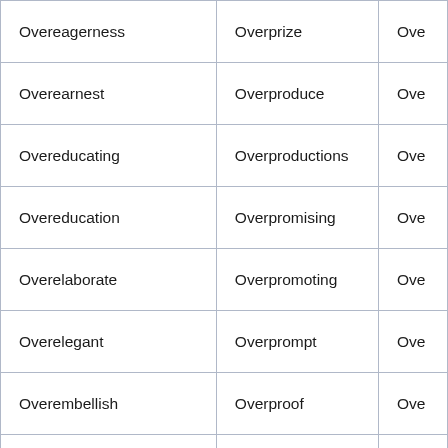| Overeagerness | Overprize | Ove |
| Overearnest | Overproduce | Ove |
| Overeducating | Overproductions | Ove |
| Overeducation | Overpromising | Ove |
| Overelaborate | Overpromoting | Ove |
| Overelegant | Overprompt | Ove |
| Overembellish | Overproof | Ove |
| Overemotional | Overproportion | Ove |
| Overemphasize | Overproportions | Ove |
| Overempty | Overprotect | Ove |